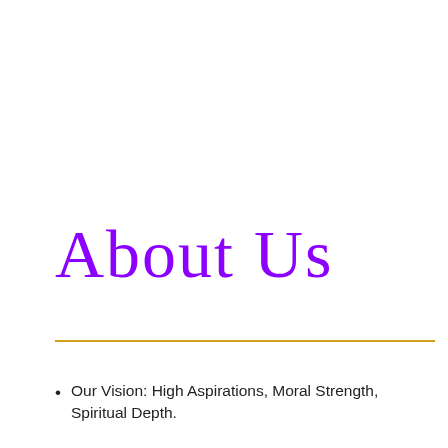About Us
Our Vision: High Aspirations, Moral Strength, Spiritual Depth.